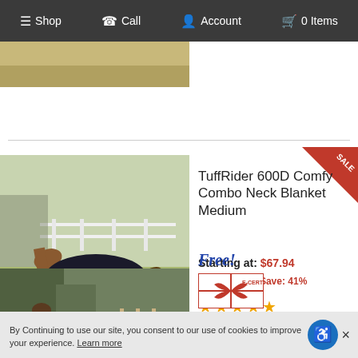Shop  Call  Account  0 Items
[Figure (photo): Partial product image at top, tan/brown color]
[Figure (photo): Horse wearing a dark blanket running in a field with white fence]
TuffRider 600D Comfy Combo Neck Blanket Medium
Starting at: $67.94
Was: $114.45 Save: 41%
[Figure (other): Five gold star rating]
[Figure (photo): Horse wearing a blanket near wooden fence in forested area]
Free!
[Figure (other): E-CERT gift certificate badge with red bow]
TuffRider 1200D Comfy
By Continuing to use our site, you consent to our use of cookies to improve your experience. Learn more